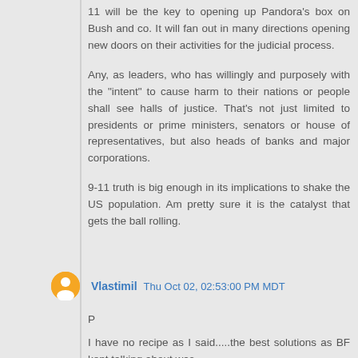11 will be the key to opening up Pandora's box on Bush and co. It will fan out in many directions opening new doors on their activities for the judicial process.
Any, as leaders, who has willingly and purposely with the "intent" to cause harm to their nations or people shall see halls of justice. That's not just limited to presidents or prime ministers, senators or house of representatives, but also heads of banks and major corporations.
9-11 truth is big enough in its implications to shake the US population. Am pretty sure it is the catalyst that gets the ball rolling.
Vlastimil   Thu Oct 02, 02:53:00 PM MDT
P
I have no recipe as I said.....the best solutions as BF kept talking about was --